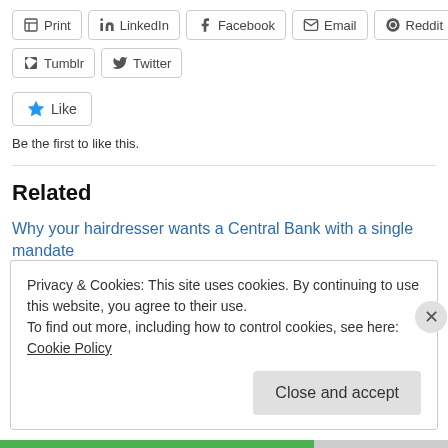Print | LinkedIn | Facebook | Email | Reddit | Tumblr | Twitter
[Figure (other): Like button with star icon]
Be the first to like this.
Related
Why your hairdresser wants a Central Bank with a single mandate
November 4, 2010
In "Money"
Privacy & Cookies: This site uses cookies. By continuing to use this website, you agree to their use.
To find out more, including how to control cookies, see here: Cookie Policy